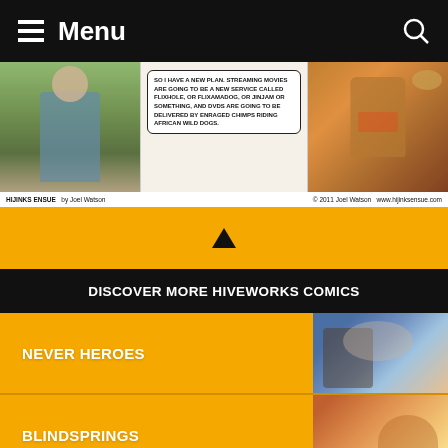Menu
[Figure (illustration): Comic strip panels from Hijinks Ensue by Joel Watson. Left panel shows a person outdoors. Center panel has speech bubble text: 'SO I HAVE A NEW PLAN. STREAMING MOVIES ARE GOING TO BE A NEW SERVICE CALLED FLIXHOLE, OR FLIXAMADOG, OR JINJI, OR SOMETHING, AND DVDS ARE GOING TO BE DELIVERED BY ENRAGED CHIMPS RIDING AFRICAN WILD DOGS.' Right panel shows an aggressive-looking dog/animal character. Footer reads: HIJINKS ENSUE by Joel Watson  /  © 2011 Joel Watson  www.hijinksensue.com]
[Figure (infographic): Orange section with upward pointing triangle/arrow]
DISCOVER MORE HIVEWORKS COMICS
NEVER HEROES
BLINDSPRINGS
MISFILE - HELL HIGH
SAKANA
LIES WITHIN